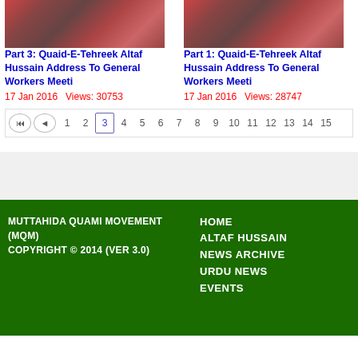[Figure (photo): Thumbnail image for Part 3 article (left)]
Part 3: Quaid-E-Tehreek Altaf Hussain Address To General Workers Meeti
17 Jan 2016   Views: 30753
[Figure (photo): Thumbnail image for Part 1 article (right)]
Part 1: Quaid-E-Tehreek Altaf Hussain Address To General Workers Meeti
17 Jan 2016   Views: 28747
Pagination: First, Previous, 1, 2, 3 (active), 4, 5, 6, 7, 8, 9, 10, 11, 12, 13, 14, 15
MUTTAHIDA QUAMI MOVEMENT (MQM)
COPYRIGHT © 2014 (VER 3.0)
HOME
ALTAF HUSSAIN
NEWS ARCHIVE
URDU NEWS
EVENTS